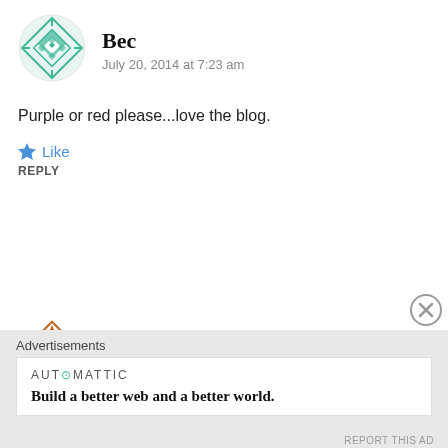[Figure (illustration): Teal/green geometric quilt-pattern avatar for user Bec]
Bec
July 20, 2014 at 7:23 am
Purple or red please...love the blog.
★ Like
REPLY
[Figure (illustration): Orange/brown geometric quilt-pattern avatar for user Melanie cook]
Melanie cook
July 21, 2014 at 4:50 am
I would choose red and green!
Advertisements
AUTOMATTIC
Build a better web and a better world.